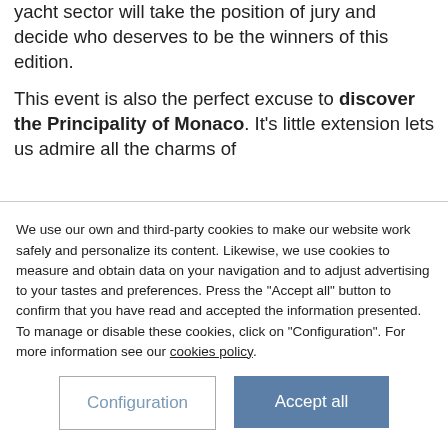yacht sector will take the position of jury and decide who deserves to be the winners of this edition.
This event is also the perfect excuse to discover the Principality of Monaco. It's little extension lets us admire all the charms of
We use our own and third-party cookies to make our website work safely and personalize its content. Likewise, we use cookies to measure and obtain data on your navigation and to adjust advertising to your tastes and preferences. Press the "Accept all" button to confirm that you have read and accepted the information presented. To manage or disable these cookies, click on "Configuration". For more information see our cookies policy.